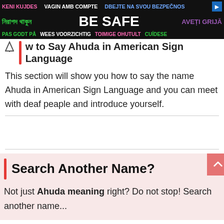[Figure (other): Advertisement banner with multilingual 'BE SAFE' message on black background, with text in multiple languages and colors]
How to Say Ahuda in American Sign Language
This section will show you how to say the name Ahuda in American Sign Language and you can meet with deaf peaple and introduce yourself.
Search Another Name?
Not just Ahuda meaning right? Do not stop! Search another name...